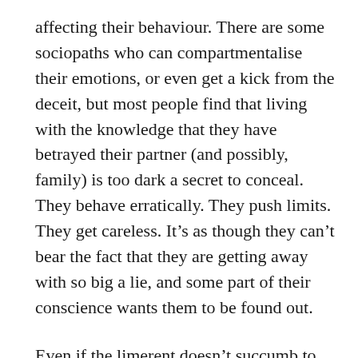affecting their behaviour. There are some sociopaths who can compartmentalise their emotions, or even get a kick from the deceit, but most people find that living with the knowledge that they have betrayed their partner (and possibly, family) is too dark a secret to conceal. They behave erratically. They push limits. They get careless. It’s as though they can’t bear the fact that they are getting away with so big a lie, and some part of their conscience wants them to be found out.
Even if the limerent doesn’t succumb to this self-sabotage (a sort of act of counter-rebellion by their better selves), they can also be found out by events. The LO is careless. Evidence is